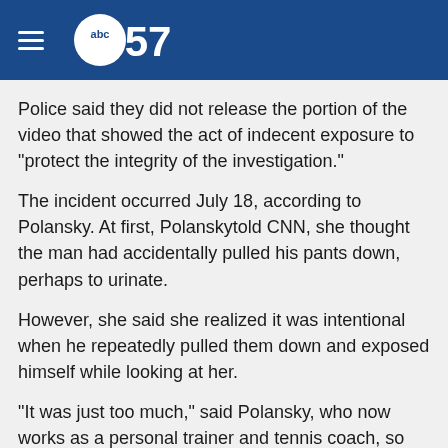abc57
Police said they did not release the portion of the video that showed the act of indecent exposure to "protect the integrity of the investigation."
The incident occurred July 18, according to Polansky. At first, Polanskytold CNN, she thought the man had accidentally pulled his pants down, perhaps to urinate.
However, she said she realized it was intentional when he repeatedly pulled them down and exposed himself while looking at her.
"It was just too much," said Polansky, who now works as a personal trainer and tennis coach, so she ran after him.